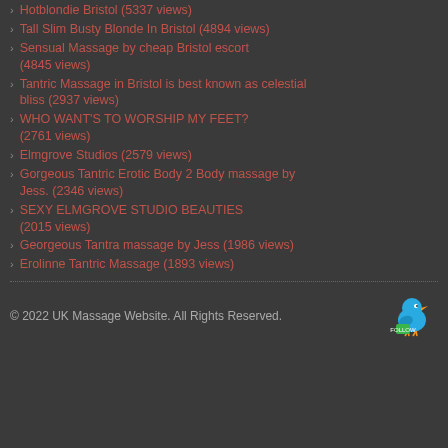Hotblondie Bristol (5337 views)
Tall Slim Busty Blonde In Bristol (4894 views)
Sensual Massage by cheap Bristol escort (4845 views)
Tantric Massage in Bristol is best known as celestial bliss (2937 views)
WHO WANT'S TO WORSHIP MY FEET? (2761 views)
Elmgrove Studios (2579 views)
Gorgeous Tantric Erotic Body 2 Body massage by Jess. (2346 views)
SEXY ELMGROVE STUDIO BEAUTIES (2015 views)
Georgeous Tantra massage by Jess (1986 views)
Erolinne Tantric Massage (1893 views)
© 2022 UK Massage Website. All Rights Reserved.